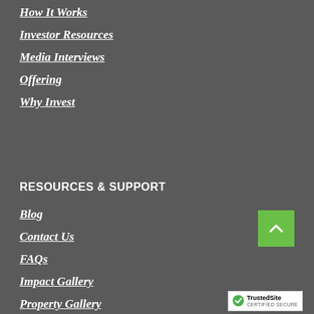How It Works
Investor Resources
Media Interviews
Offering
Why Invest
RESOURCES & SUPPORT
Blog
Contact Us
FAQs
Impact Gallery
Property Gallery
[Figure (other): Green back-to-top button with upward chevron arrow]
[Figure (logo): TrustedSite Certified Secure badge with checkmark logo]